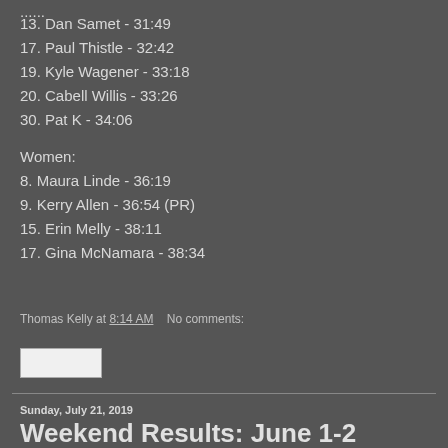13. Dan Samet - 31:49
17. Paul Thistle - 32:42
19. Kyle Wagener - 33:18
20. Cabell Willis - 33:26
30. Pat K - 34:06
Women:
8. Maura Linde - 36:19
9. Kerry Allen - 36:54 (PR)
15. Erin Melly - 38:11
17. Gina McNamara - 38:34
Thomas Kelly at 8:14 AM   No comments:
Sunday, July 21, 2019
Weekend Results: June 1-2